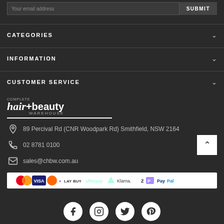[Figure (screenshot): Email input field with SUBMIT button]
CATEGORIES
INFORMATION
CUSTOMER SERVICE
[Figure (logo): Complete Hair + Beauty Warehouse logo]
89 Percival Rd (CNR Woodpark Rd) Smithfield, NSW 2164
02 8781 0100
sales@chbw.com.au
[Figure (infographic): Payment method logos: Mastercard, Visa, Laybuy, Afterpay, Klarna, Zip, PayPal]
[Figure (infographic): Social media icons: Facebook, Instagram, Twitter, Pinterest]